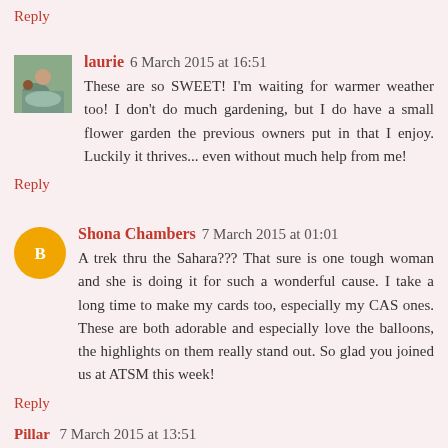Reply
laurie  6 March 2015 at 16:51
These are so SWEET! I'm waiting for warmer weather too! I don't do much gardening, but I do have a small flower garden the previous owners put in that I enjoy. Luckily it thrives... even without much help from me!
Reply
Shona Chambers  7 March 2015 at 01:01
A trek thru the Sahara??? That sure is one tough woman and she is doing it for such a wonderful cause. I take a long time to make my cards too, especially my CAS ones. These are both adorable and especially love the balloons, the highlights on them really stand out. So glad you joined us at ATSM this week!
Reply
Pillar  7 March 2015 at 13:51